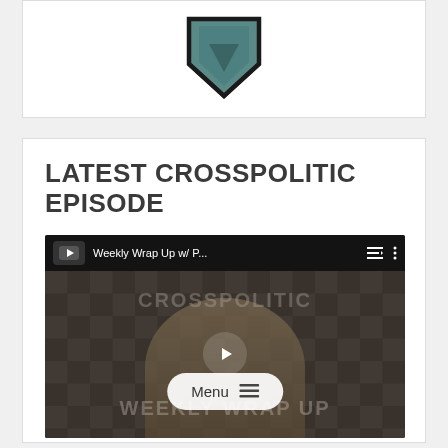[Figure (logo): CrossPolitic logo — teal/dark shield or chevron shape pointing downward]
LATEST CROSSPOLITIC EPISODE
[Figure (screenshot): YouTube video thumbnail showing 'Weekly Wrap Up w/ P...' with a person in front of a microphone in a dark studio, overlaid with CROSSPOLITIC WEEKLY WRAP UP watermark text and a Menu button overlay]
Menu